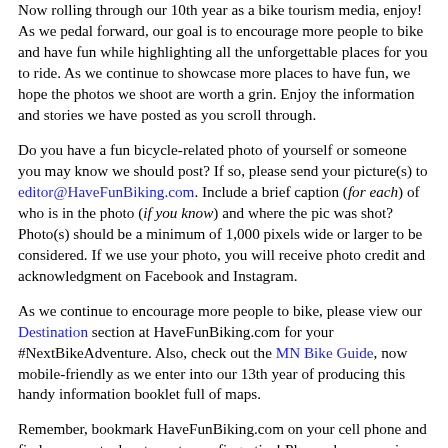Now rolling through our 10th year as a bike tourism media, enjoy! As we pedal forward, our goal is to encourage more people to bike and have fun while highlighting all the unforgettable places for you to ride. As we continue to showcase more places to have fun, we hope the photos we shoot are worth a grin. Enjoy the information and stories we have posted as you scroll through.
Do you have a fun bicycle-related photo of yourself or someone you may know we should post? If so, please send your picture(s) to editor@HaveFunBiking.com. Include a brief caption (for each) of who is in the photo (if you know) and where the pic was shot? Photo(s) should be a minimum of 1,000 pixels wide or larger to be considered. If we use your photo, you will receive photo credit and acknowledgment on Facebook and Instagram.
As we continue to encourage more people to bike, please view our Destination section at HaveFunBiking.com for your #NextBikeAdventure. Also, check out the MN Bike Guide, now mobile-friendly as we enter into our 13th year of producing this handy information booklet full of maps.
Remember, bookmark HaveFunBiking.com on your cell phone and find your next adventure at your fingertips! Please share our pics with your friends, and don't forget to smile. We may be around the corner with one of our